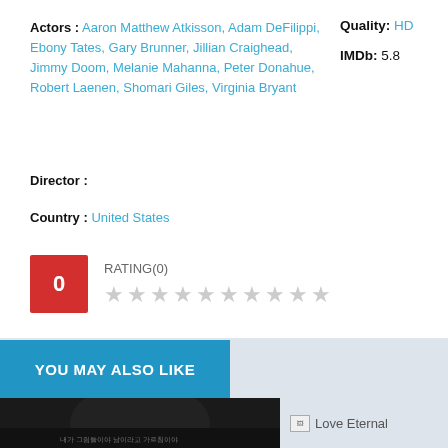Actors : Aaron Matthew Atkisson, Adam DeFilippi, Ebony Tates, Gary Brunner, Jillian Craighead, Jimmy Doom, Melanie Mahanna, Peter Donahue, Robert Laenen, Shomari Giles, Virginia Bryant
Director :
Country : United States
Quality: HD
IMDb: 5.8
RATING(0)
YOU MAY ALSO LIKE
[Figure (photo): Movie thumbnail showing dark silhouette figure with Korean subtitle text]
Love Eternal